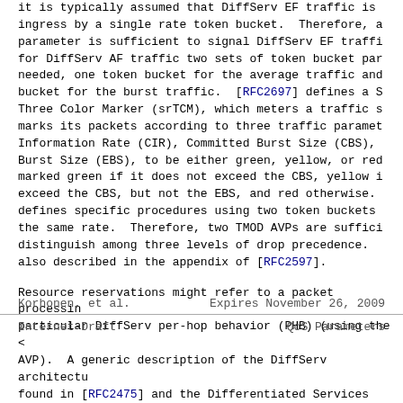It is typically assumed that DiffServ EF traffic is ingress by a single rate token bucket. Therefore, a parameter is sufficient to signal DiffServ EF traffi for DiffServ AF traffic two sets of token bucket par needed, one token bucket for the average traffic and bucket for the burst traffic. [RFC2697] defines a S Three Color Marker (srTCM), which meters a traffic s marks its packets according to three traffic paramet Information Rate (CIR), Committed Burst Size (CBS), Burst Size (EBS), to be either green, yellow, or red marked green if it does not exceed the CBS, yellow i exceed the CBS, but not the EBS, and red otherwise. defines specific procedures using two token buckets the same rate. Therefore, two TMOD AVPs are suffici distinguish among three levels of drop precedence. also described in the appendix of [RFC2597].
Resource reservations might refer to a packet processin particular DiffServ per-hop behavior (PHB) (using the <
Korhonen, et al.         Expires November 26, 2009
Internet-Draft                    QoS Parameters
AVP).  A generic description of the DiffServ architectu found in [RFC2475] and the Differentiated Services Fiel in Section 3 of [RFC2474].  Updated terminology can be